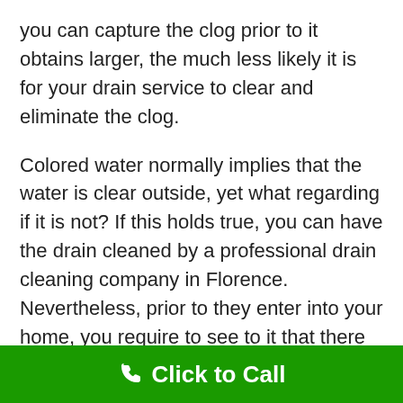you can capture the clog prior to it obtains larger, the much less likely it is for your drain service to clear and eliminate the clog.
Colored water normally implies that the water is clear outside, yet what regarding if it is not? If this holds true, you can have the drain cleaned by a professional drain cleaning company in Florence. Nevertheless, prior to they enter into your home, you require to see to it that there are no drains clogged in your sink or bathtub.
As soon as you find the drain clogging trouble, you need to take action as soon as possible. You can utilize drain cleaners to buy over-the-counter at the shop, yet do not attempt to clean the drain on your own because that will possibly cause even more troubles than it resolves. You can turn off any kind of hot water, which is usually causing
Click to Call